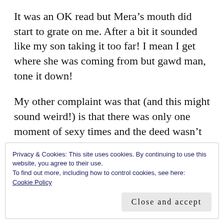It was an OK read but Mera’s mouth did start to grate on me. After a bit it sounded like my son taking it too far! I mean I get where she was coming from but gawd man, tone it down!
My other complaint was that (and this might sound weird!) is that there was only one moment of sexy times and the deed wasn’t even done….I went into this not expecting that at all *sad times*
Privacy & Cookies: This site uses cookies. By continuing to use this website, you agree to their use.
To find out more, including how to control cookies, see here:
Cookie Policy
Close and accept